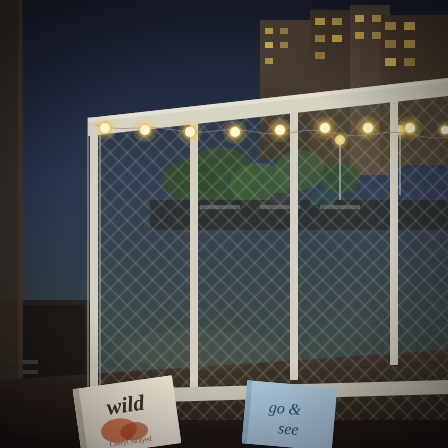[Figure (photo): Outdoor rooftop or elevated deck scene at dusk. A metal railing with chain-link/mesh fencing runs diagonally from left to right. String lights with globe bulbs are draped along the top rail, glowing warm yellow. In the background, city buildings and trees are visible in the evening light with street lights on. In the foreground on the dark wooden deck floor lie two books: 'Wild' by Cheryl Strayed on the left and 'Go & See' (partially visible) on the right.]